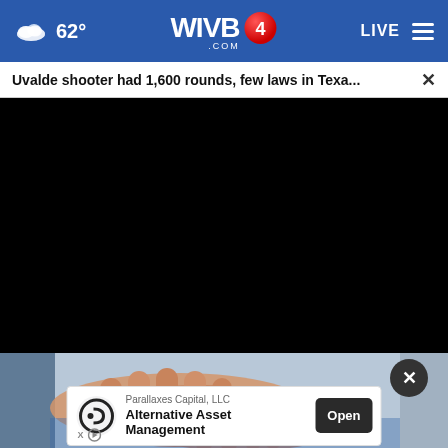62° WIVB4.COM LIVE
Uvalde shooter had 1,600 rounds, few laws in Texa...
[Figure (screenshot): Black video player area on WIVB4.com news website]
[Figure (photo): Hands clasped together, partially visible at bottom of screen]
Parallaxes Capital, LLC
Alternative Asset Management
Open